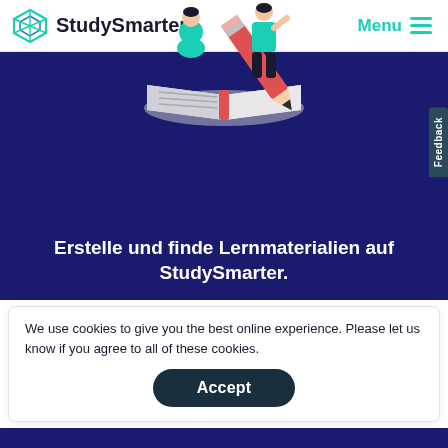StudySmarter   Menu
[Figure (illustration): Two cartoon students with a large open book and a giant red pencil]
Erstelle und finde Lernmaterialien auf StudySmarter.
We use cookies to give you the best online experience. Please let us know if you agree to all of these cookies.
Accept
JETZT LOSLEGEN